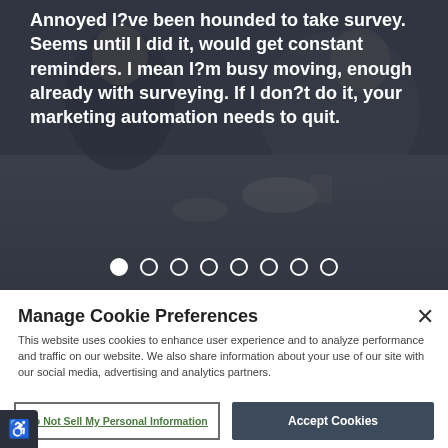[Figure (photo): Background image of people sitting at a table with food, overlaid with dark semi-transparent gradient. Carousel slide indicator dots are shown at the bottom of the image area.]
Annoyed I?ve been hounded to take survey. Seems until I did it, would get constant reminders. I mean I?m busy moving, enough already with surveying. If I don?t do it, your marketing automation needs to quit.
Manage Cookie Preferences
This website uses cookies to enhance user experience and to analyze performance and traffic on our website. We also share information about your use of our site with our social media, advertising and analytics partners.
Do Not Sell My Personal Information
Accept Cookies